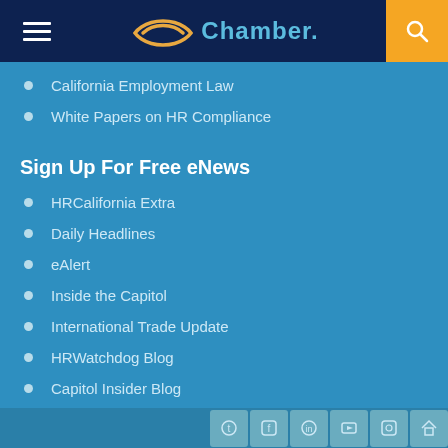Chamber.
California Employment Law
White Papers on HR Compliance
Sign Up For Free eNews
HRCalifornia Extra
Daily Headlines
eAlert
Inside the Capitol
International Trade Update
HRWatchdog Blog
Capitol Insider Blog